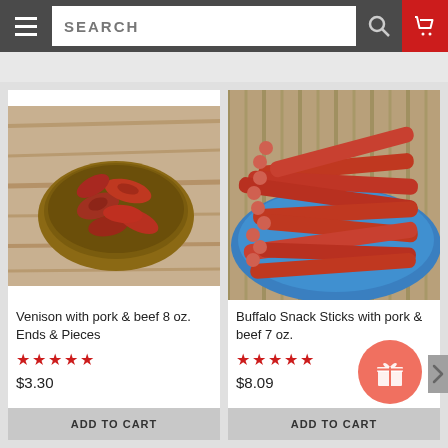SEARCH
[Figure (photo): Venison sausage ends and pieces in a wooden bowl on a wooden table]
Venison with pork & beef 8 oz. Ends & Pieces
★★★★★
$3.30
ADD TO CART
[Figure (photo): Buffalo snack sticks piled on a blue plate on a burlap surface]
Buffalo Snack Sticks with pork & beef 7 oz.
★★★★★
$8.09
ADD TO CART